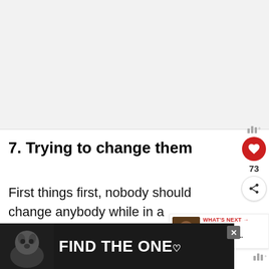[Figure (other): Gray placeholder area for an advertisement or image at the top of the page]
7. Trying to change them
First things first, nobody should change anybody while in a relationship. have our perfections and flaws. There is
[Figure (other): Bottom advertisement banner with dark background showing a dog and text FIND THE ONE with a heart symbol]
[Figure (other): What's Next widget showing: WHAT'S NEXT arrow, 8 Sex Moves That Will Ma...]